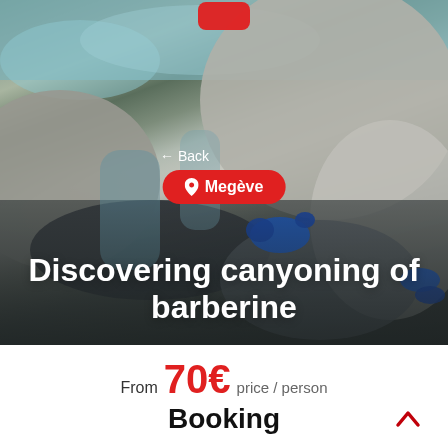[Figure (photo): Outdoor canyoning scene with person in wetsuit sliding down wet rocks between large boulders, with a waterfall/stream visible. Location badge and back button overlaid on the image.]
← Back
📍 Megève
Discovering canyoning of barberine
From 70€ price / person
Booking